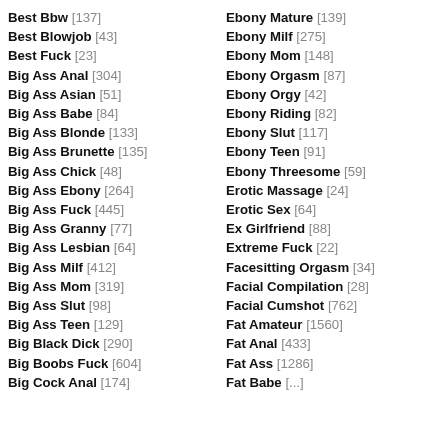Best Bbw [137]
Best Blowjob [43]
Best Fuck [23]
Big Ass Anal [304]
Big Ass Asian [51]
Big Ass Babe [84]
Big Ass Blonde [133]
Big Ass Brunette [135]
Big Ass Chick [48]
Big Ass Ebony [264]
Big Ass Fuck [445]
Big Ass Granny [77]
Big Ass Lesbian [64]
Big Ass Milf [412]
Big Ass Mom [319]
Big Ass Slut [98]
Big Ass Teen [129]
Big Black Dick [290]
Big Boobs Fuck [604]
Big Cock Anal [174]
Ebony Mature [139]
Ebony Milf [275]
Ebony Mom [148]
Ebony Orgasm [87]
Ebony Orgy [42]
Ebony Riding [82]
Ebony Slut [117]
Ebony Teen [91]
Ebony Threesome [59]
Erotic Massage [24]
Erotic Sex [64]
Ex Girlfriend [88]
Extreme Fuck [22]
Facesitting Orgasm [34]
Facial Compilation [28]
Facial Cumshot [762]
Fat Amateur [1560]
Fat Anal [433]
Fat Ass [1286]
Fat Babe [...]